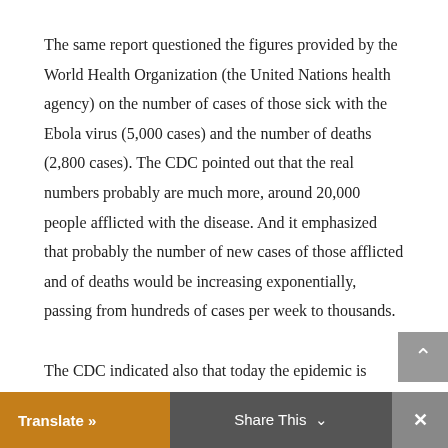The same report questioned the figures provided by the World Health Organization (the United Nations health agency) on the number of cases of those sick with the Ebola virus (5,000 cases) and the number of deaths (2,800 cases). The CDC pointed out that the real numbers probably are much more, around 20,000 people afflicted with the disease. And it emphasized that probably the number of new cases of those afflicted and of deaths would be increasing exponentially, passing from hundreds of cases per week to thousands.
The CDC indicated also that today the epidemic is centered in three West African countries Liberia, Sierra Leone, and Guinea, where the infrastructures for hygiene, public health, and sanitary services They've worsened in the past years as a